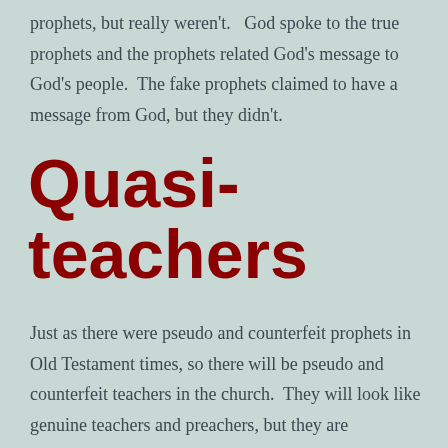prophets, but really weren't.   God spoke to the true prophets and the prophets related God's message to God's people.  The fake prophets claimed to have a message from God, but they didn't.
Quasi-teachers
Just as there were pseudo and counterfeit prophets in Old Testament times, so there will be pseudo and counterfeit teachers in the church.  They will look like genuine teachers and preachers, but they are imposters.